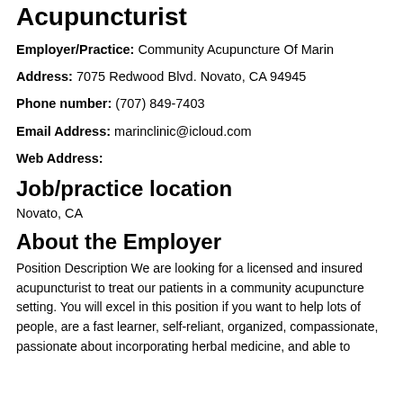Acupuncturist
Employer/Practice: Community Acupuncture Of Marin
Address: 7075 Redwood Blvd. Novato, CA 94945
Phone number: (707) 849-7403
Email Address: marinclinic@icloud.com
Web Address:
Job/practice location
Novato, CA
About the Employer
Position Description We are looking for a licensed and insured acupuncturist to treat our patients in a community acupuncture setting. You will excel in this position if you want to help lots of people, are a fast learner, self-reliant, organized, compassionate, passionate about incorporating herbal medicine, and able to